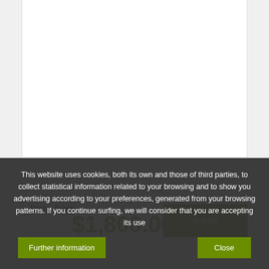Duration: 7 Days
Price from:
$1,800.00
+ info
This website uses cookies, both its own and those of third parties, to collect statistical information related to your browsing and to show you advertising according to your preferences, generated from your browsing patterns. If you continue surfing, we will consider that you are accepting its use
Further information
Close